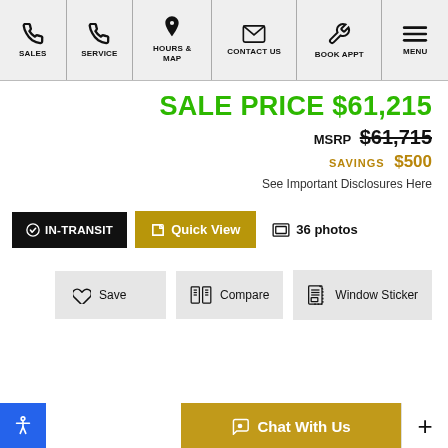SALES | SERVICE | HOURS & MAP | CONTACT US | BOOK APPT | MENU
SALE PRICE $61,215
MSRP $61,715
SAVINGS $500
See Important Disclosures Here
IN-TRANSIT  Quick View  36 photos
Save  Compare  Window Sticker
Chat With Us